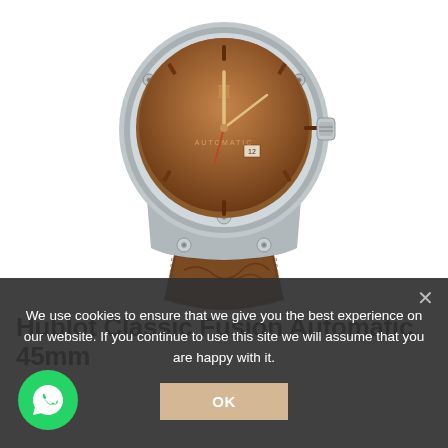[Figure (photo): A Hublot Classic Fusion watch with a brown/cognac dial, silver stainless steel case with screws on the bezel, and a brown leather strap with decorative engravings. The watch is photographed from above showing the upper half of the case and the strap.]
Hublot Classic Fusion Automatic 45mm
We use cookies to ensure that we give you the best experience on our website. If you continue to use this site we will assume that you are happy with it.